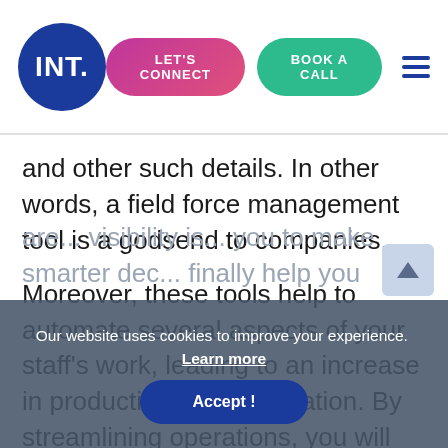INT. | LET'S CONNECT | BOOK A CALL
and other such details. In other words, a field force management tool is a godsend to companies.
Moreover, these tools help to automate several aspects of your staff’s work, leading to an increase in productivity and motivation. By streamlining operations, you will also ensure that important stakeholders are... visibility is... you to make smarter decisions... finally help you
Our website uses cookies to improve your experience. Learn more
Accept !